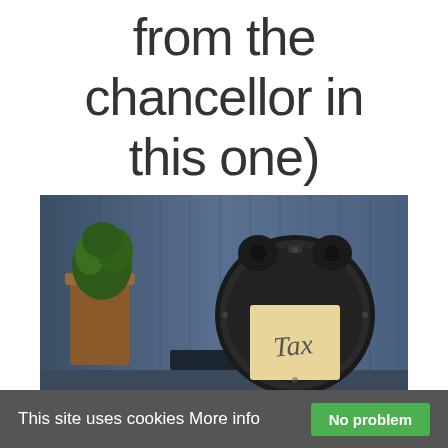from the chancellor in this one)
[Figure (photo): An alarm clock with a sticky note reading 'Tax' on its face, placed on a shelf next to a potted plant, against a blue wooden background.]
This site uses cookies More info
No problem